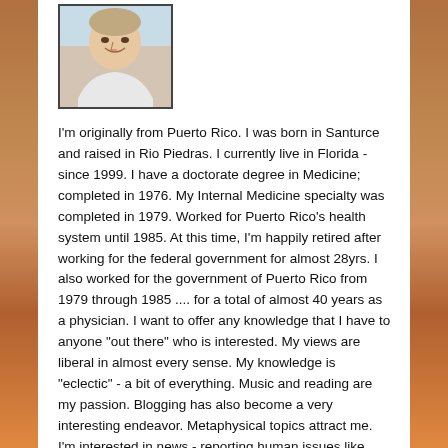[Figure (photo): Portrait photo of a smiling person, appears to be an older adult, framed with a dark border]
I'm originally from Puerto Rico. I was born in Santurce and raised in Rio Piedras. I currently live in Florida - since 1999. I have a doctorate degree in Medicine; completed in 1976. My Internal Medicine specialty was completed in 1979. Worked for Puerto Rico's health system until 1985. At this time, I'm happily retired after working for the federal government for almost 28yrs. I also worked for the government of Puerto Rico from 1979 through 1985 .... for a total of almost 40 years as a physician. I want to offer any knowledge that I have to anyone "out there" who is interested. My views are liberal in almost every sense. My knowledge is "eclectic" - a bit of everything. Music and reading are my passion. Blogging has also become a very interesting endeavor. Metaphysical topics attract me. I'm interested in news - reporting human issues like injustice, discrimination and abuse - the "wrongly" affected. My intention is to bring this knowledge to an understandable level and to help anyone in need. I'm open to questions and will answer them to the best of my ability. Currently working on an enterprise whose main mission will be to bring peoples of all